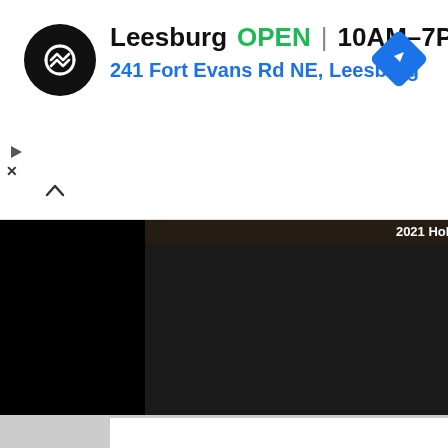[Figure (screenshot): Advertisement banner for an auto service in Leesburg showing logo, open hours, address, and navigation icon]
Leesburg  OPEN | 10AM–7PM
241 Fort Evans Rd NE, Leesburg
[Figure (screenshot): Web page content area showing a dark video player with '2021 Hollywood Shooting' thumbnail, a headline 'Djimon Hounsou Has A Lot' in green, and a woman's photo on the right side against a black background]
2021 Hollywood Shooting
Djimon Hounsou Has A Lot